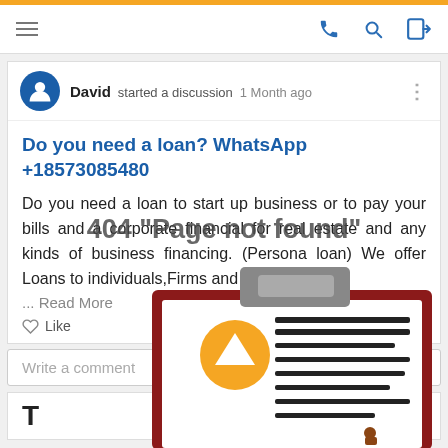David started a discussion 1 Month ago
Do you need a loan? WhatsApp +18573085480
Do you need a loan to start up business or to pay your bills and a corporate financial for real estate and any kinds of business financing. (Persona loan) We offer Loans to individuals,Firms and corpo
... Read More
[Figure (screenshot): 404 Page not found overlay text over post body, with a clipboard illustration in the lower portion of the screen]
Write a comment
T